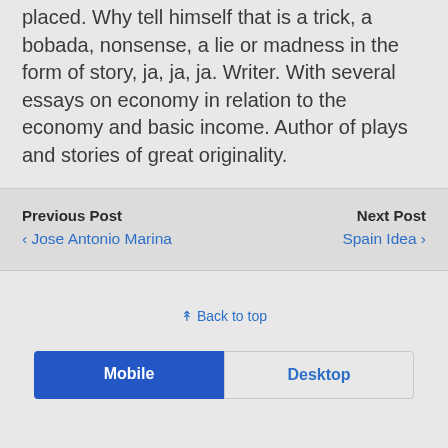placed. Why tell himself that is a trick, a bobada, nonsense, a lie or madness in the form of story, ja, ja, ja. Writer. With several essays on economy in relation to the economy and basic income. Author of plays and stories of great originality.
Previous Post
‹ Jose Antonio Marina
Next Post
Spain Idea ›
⇑ Back to top
Mobile
Desktop